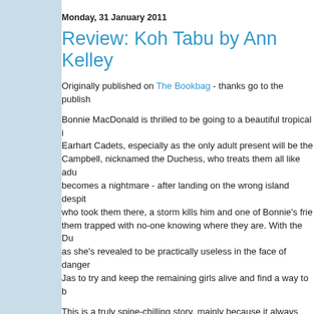Monday, 31 January 2011
Review: Koh Tabu by Ann Kelley
Originally published on The Bookbag - thanks go to the publish
Bonnie MacDonald is thrilled to be going to a beautiful tropical i Earhart Cadets, especially as the only adult present will be the Campbell, nicknamed the Duchess, who treats them all like adu becomes a nightmare - after landing on the wrong island despit who took them there, a storm kills him and one of Bonnie's frie them trapped with no-one knowing where they are. With the Du as she's revealed to be practically useless in the face of danger Jas to try and keep the remaining girls alive and find a way to b
This is a truly spine-chilling story, mainly because it always see against the backdrop of the Vietnam War - the girls are the child - and as well as being stranded on the island, the survivors hav whether their parents are alive after they see explosions in the disintegration of the recently widowed Mrs Campbell seems utte Bonnie and some of the other girls are forced to take responsib
I don't think I can honestly say I particularly liked Bonnie - a co horrendous consequences, and one in particular will cause a w